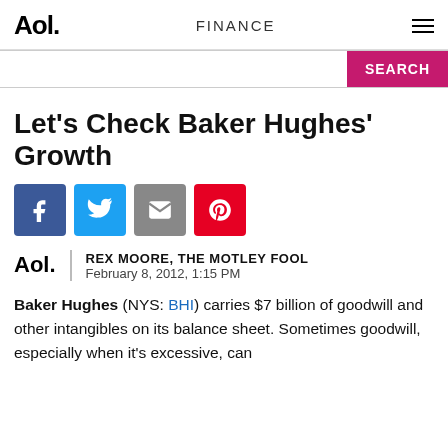Aol. FINANCE
Let's Check Baker Hughes' Growth
[Figure (infographic): Social share buttons: Facebook (blue), Twitter (light blue), Email (gray), Pinterest (red)]
REX MOORE, THE MOTLEY FOOL — February 8, 2012, 1:15 PM
Baker Hughes (NYS: BHI) carries $7 billion of goodwill and other intangibles on its balance sheet. Sometimes goodwill, especially when it's excessive, can